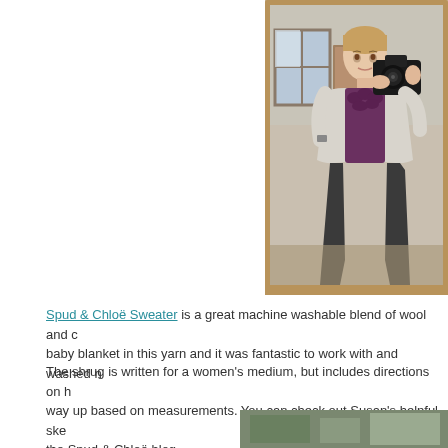[Figure (photo): A woman in a cream shrug over a purple top photographing herself in a mirror, holding a DSLR camera. She is wearing a dark skirt. The mirror has a wooden frame. A window and room interior are visible in the reflection.]
Spud & Chloë Sweater is a great machine washable blend of wool and cotton. I made a baby blanket in this yarn and it was fantastic to work with and washed n...
The shrug is written for a women's medium, but includes directions on h... way up based on measurements. You can check out Susan's helpful ske... the Spud & Chloë blog.
[Figure (photo): Partial image of another photo at the bottom of the page, cropped.]